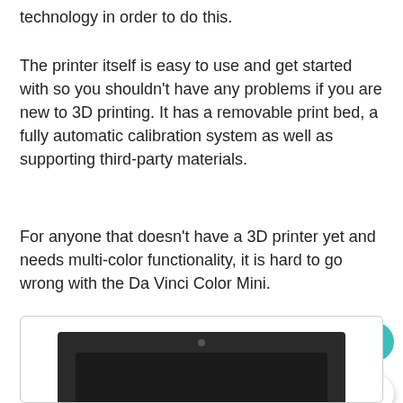technology in order to do this.
The printer itself is easy to use and get started with so you shouldn't have any problems if you are new to 3D printing. It has a removable print bed, a fully automatic calibration system as well as supporting third-party materials.
For anyone that doesn't have a 3D printer yet and needs multi-color functionality, it is hard to go wrong with the Da Vinci Color Mini.
<p
[Figure (screenshot): Screenshot of a webpage showing a partial image of a 3D printer (Da Vinci Color Mini) at the bottom, with a heart/favorite button (teal circle with heart icon), a share button, and a count of 6.]